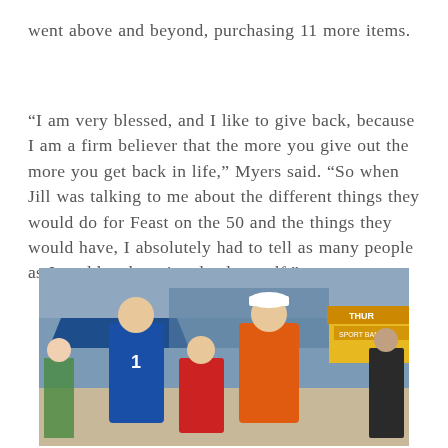went above and beyond, purchasing 11 more items.
“I am very blessed, and I like to give back, because I am a firm believer that the more you give out the more you get back in life,” Myers said. “So when Jill was talking to me about the different things they would do for Feast on the 50 and the things they would have, I absolutely had to tell as many people as I could and get involved myself.”
[Figure (photo): Two men and a young boy in Florida Gators blue and orange apparel posing outdoors at a stadium event with tents and crowds in the background.]